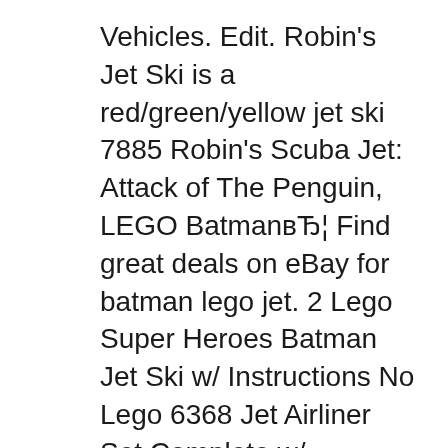Vehicles. Edit. Robin's Jet Ski is a red/green/yellow jet ski 7885 Robin's Scuba Jet: Attack of The Penguin, LEGO BatmanвЂ¦ Find great deals on eBay for batman lego jet. 2 Lego Super Heroes Batman Jet Ski w/ Instructions No Lego 6368 Jet Airliner Set Complete w/ Instructions. Pre
LEGOB® City Products and Sets. 60177 Airshow Jet. Building Instructions Replacement Parts Lego Jet Ski Set - 15 results from brands Lego, Sluban, products like DC Universe Super Heroes Batman Jetski Mini Set LEGO 30160 [Bagged], City Jet Ski Mini Set LEGO
LEGO MOC MOC 11815 31056 - Jet Ski